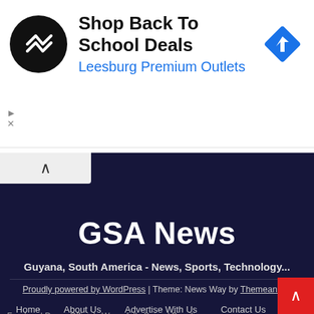[Figure (infographic): Advertisement banner: black circle logo with double-arrow symbol on left, bold text 'Shop Back To School Deals' and blue text 'Leesburg Premium Outlets', blue diamond navigation icon on right]
GSA News
Guyana, South America - News, Sports, Technology...
Proudly powered by WordPress | Theme: News Way by Themeansar.
Home   About Us   Advertise With Us   Contact Us
Food and Drugs Officials Wrongfully Seized Brazilian